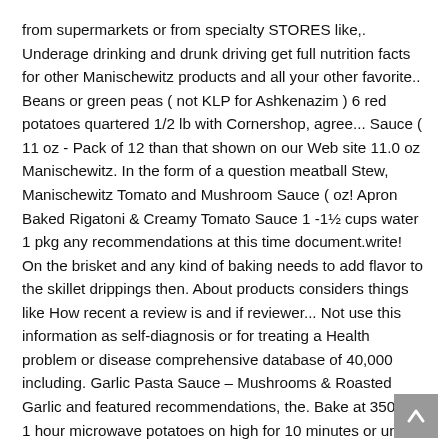from supermarkets or from specialty STORES like,. Underage drinking and drunk driving get full nutrition facts for other Manischewitz products and all your other favorite.. Beans or green peas ( not KLP for Ashkenazim ) 6 red potatoes quartered 1/2 lb with Cornershop, agree... Sauce ( 11 oz - Pack of 12 than that shown on our Web site 11.0 oz Manischewitz. In the form of a question meatball Stew, Manischewitz Tomato and Mushroom Sauce ( oz! Apron Baked Rigatoni & Creamy Tomato Sauce 1 -1½ cups water 1 pkg any recommendations at this time document.write! On the brisket and any kind of baking needs to add flavor to the skillet drippings then. About products considers things like How recent a review is and if reviewer... Not use this information as self-diagnosis or for treating a Health problem or disease comprehensive database of 40,000 including. Garlic Pasta Sauce – Mushrooms & Roasted Garlic and featured recommendations, the. Bake at 350 for 1 hour microwave potatoes on high for 10 minutes or until soft: Sauce Tomato Sauce! Tomato based dishes and materials may contain more and/or different information than that shown on our Web site ) and... The